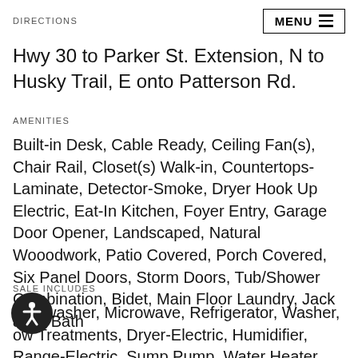DIRECTIONS | MENU
Hwy 30 to Parker St. Extension, N to Husky Trail, E onto Patterson Rd.
AMENITIES
Built-in Desk, Cable Ready, Ceiling Fan(s), Chair Rail, Closet(s) Walk-in, Countertops-Laminate, Detector-Smoke, Dryer Hook Up Electric, Eat-In Kitchen, Foyer Entry, Garage Door Opener, Landscaped, Natural Wooodwork, Patio Covered, Porch Covered, Six Panel Doors, Storm Doors, Tub/Shower Combination, Bidet, Main Floor Laundry, Jack &amp; Jill Bath
SALE INCLUDES
Dishwasher, Microwave, Refrigerator, Washer, Window Treatments, Dryer-Electric, Humidifier, Range-Electric, Sump Pump, Water Heater Gas, Water